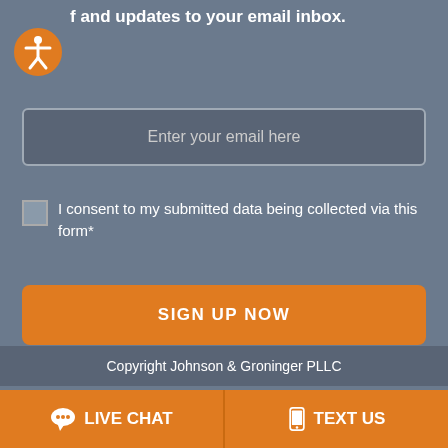Subscribe to our mailing list and get interesting stuff and updates to your email inbox.
Enter your email here
I consent to my submitted data being collected via this form*
SIGN UP NOW
We respect your privacy and take protecting it seriously.
Copyright Johnson & Groninger PLLC
LIVE CHAT
TEXT US